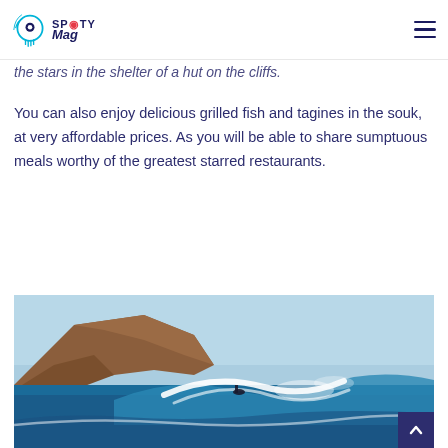SpotY Mag – navigation header with logo and hamburger menu
the stars in the shelter of a hut on the cliffs.
You can also enjoy delicious grilled fish and tagines in the souk, at very affordable prices. As you will be able to share sumptuous meals worthy of the greatest starred restaurants.
[Figure (photo): A surfer riding a large ocean wave near rocky cliffs under a clear sky.]